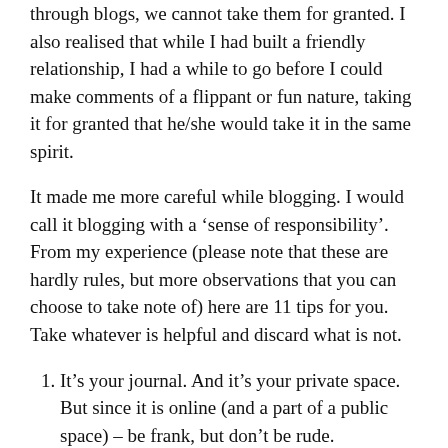through blogs, we cannot take them for granted. I also realised that while I had built a friendly relationship, I had a while to go before I could make comments of a flippant or fun nature, taking it for granted that he/she would take it in the same spirit.
It made me more careful while blogging. I would call it blogging with a ‘sense of responsibility’. From my experience (please note that these are hardly rules, but more observations that you can choose to take note of) here are 11 tips for you. Take whatever is helpful and discard what is not.
It’s your journal. And it’s your private space. But since it is online (and a part of a public space) – be frank, but don’t be rude.
While you make many ‘friends’ while blogging, remember that it takes a while to build deeper.